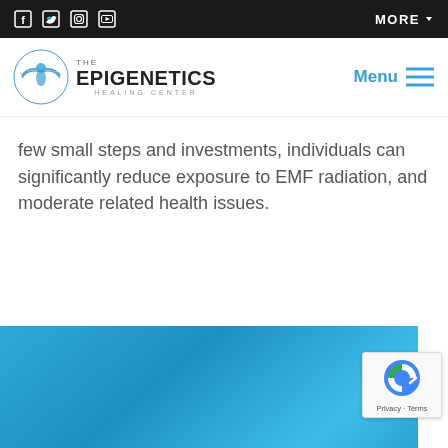Social media icons (Facebook, Twitter, Instagram, YouTube) | MORE
[Figure (logo): The Epigenetics Healing Center logo with stylized bird/eagle emblem and Menu navigation]
few small steps and investments, individuals can significantly reduce exposure to EMF radiation, and moderate related health issues.
[Figure (photo): Blue background image section at bottom of page]
[Figure (other): reCAPTCHA badge with Privacy and Terms links]